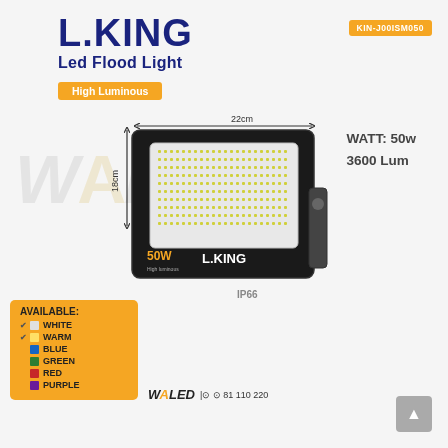L.KING Led Flood Light
High Luminous
KIN-J00ISM050
WATT: 50w
3600 Lum
[Figure (photo): L.KING LED flood light product photo, black rectangular lamp with LED panel, mounting bracket, labeled 50W, L.KING, IP66, dimensions shown: 18cm height x 22cm width]
AVAILABLE: WHITE, WARM, BLUE, GREEN, RED, PURPLE
WALED | 81 110 220